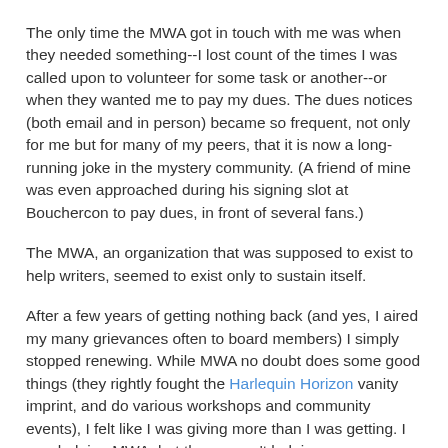The only time the MWA got in touch with me was when they needed something--I lost count of the times I was called upon to volunteer for some task or another--or when they wanted me to pay my dues. The dues notices (both email and in person) became so frequent, not only for me but for many of my peers, that it is now a long-running joke in the mystery community. (A friend of mine was even approached during his signing slot at Bouchercon to pay dues, in front of several fans.)
The MWA, an organization that was supposed to exist to help writers, seemed to exist only to sustain itself.
After a few years of getting nothing back (and yes, I aired my many grievances often to board members) I simply stopped renewing. While MWA no doubt does some good things (they rightly fought the Harlequin Horizon vanity imprint, and do various workshops and community events), I felt like I was giving more than I was getting. I was helping MWA, but they weren't helping me.